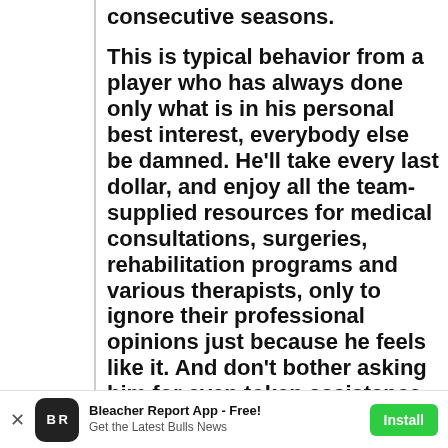consecutive seasons.
This is typical behavior from a player who has always done only what is in his personal best interest, everybody else be damned. He'll take every last dollar, and enjoy all the team-supplied resources for medical consultations, surgeries, rehabilitation programs and various therapists, only to ignore their professional opinions just because he feels like it. And don't bother asking him for even token assistance in welcoming potential
Bleacher Report App - Free! Get the Latest Bulls News Install